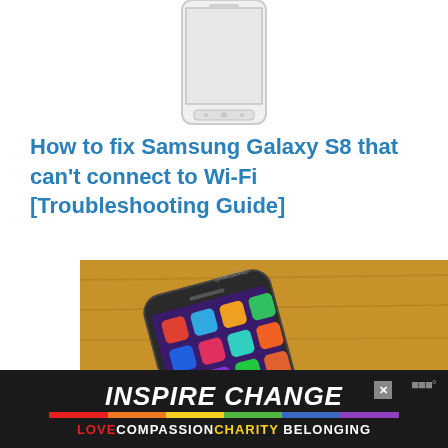[Figure (photo): Top portion of a Samsung smartphone shown from the front, white/silver color, cut off at top of page]
How to fix Samsung Galaxy S8 that can't connect to Wi-Fi [Troubleshooting Guide]
[Figure (photo): Samsung Galaxy smartphone lying on a wooden table, screen showing app icons, photographed at an angle]
[Figure (other): Advertisement banner: INSPIRE CHANGE with rainbow strip and text LOVE COMPASSION CHARITY BELONGING on dark background]